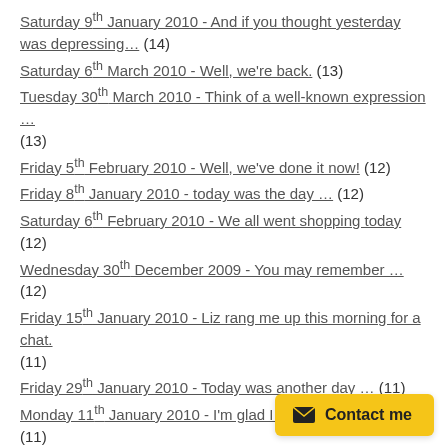Saturday 9th January 2010 - And if you thought yesterday was depressing… (14)
Saturday 6th March 2010 - Well, we're back. (13)
Tuesday 30th March 2010 - Think of a well-known expression … (13)
Friday 5th February 2010 - Well, we've done it now! (12)
Friday 8th January 2010 - today was the day … (12)
Saturday 6th February 2010 - We all went shopping today (12)
Wednesday 30th December 2009 - You may remember … (12)
Friday 15th January 2010 - Liz rang me up this morning for a chat. (11)
Friday 29th January 2010 - Today was another day … (11)
Monday 11th January 2010 - I'm glad I didn't hold my breath. (11)
Monday 1st February 2010 - You might be excused for thinking … (11)
Saturday 13th March 2010 - What a night! (11)